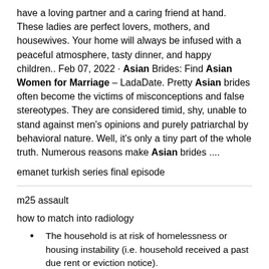have a loving partner and a caring friend at hand. These ladies are perfect lovers, mothers, and housewives. Your home will always be infused with a peaceful atmosphere, tasty dinner, and happy children.. Feb 07, 2022 · Asian Brides: Find Asian Women for Marriage – LadaDate. Pretty Asian brides often become the victims of misconceptions and false stereotypes. They are considered timid, shy, unable to stand against men's opinions and purely patriarchal by behavioral nature. Well, it's only a tiny part of the whole truth. Numerous reasons make Asian brides ....
emanet turkish series final episode
m25 assault
how to match into radiology
The household is at risk of homelessness or housing instability (i.e. household received a past due rent or eviction notice).
The household lives in Illinois and rents their home as their primary residence.